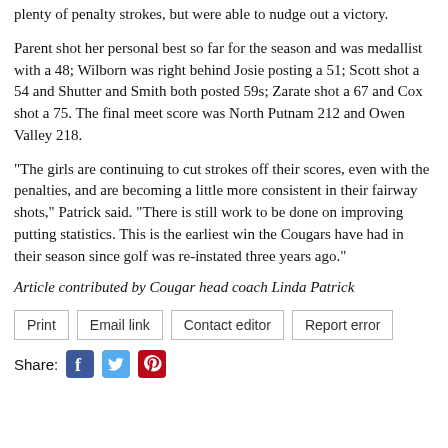plenty of penalty strokes, but were able to nudge out a victory.
Parent shot her personal best so far for the season and was medallist with a 48; Wilborn was right behind Josie posting a 51; Scott shot a 54 and Shutter and Smith both posted 59s; Zarate shot a 67 and Cox shot a 75. The final meet score was North Putnam 212 and Owen Valley 218.
"The girls are continuing to cut strokes off their scores, even with the penalties, and are becoming a little more consistent in their fairway shots," Patrick said. "There is still work to be done on improving putting statistics. This is the earliest win the Cougars have had in their season since golf was re-instated three years ago."
Article contributed by Cougar head coach Linda Patrick
Print  Email link  Contact editor  Report error
Share: